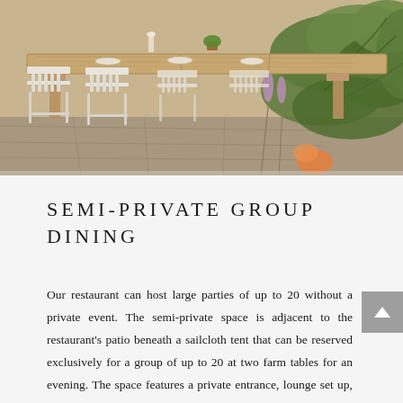[Figure (photo): Outdoor dining area with a long rustic wooden farm table, white spindle-back chairs, place settings, and lush green ferns and plants on a stone patio.]
SEMI-PRIVATE GROUP DINING
Our restaurant can host large parties of up to 20 without a private event. The semi-private space is adjacent to the restaurant's patio beneath a sailcloth tent that can be reserved exclusively for a group of up to 20 at two farm tables for an evening. The space features a private entrance, lounge set up, and